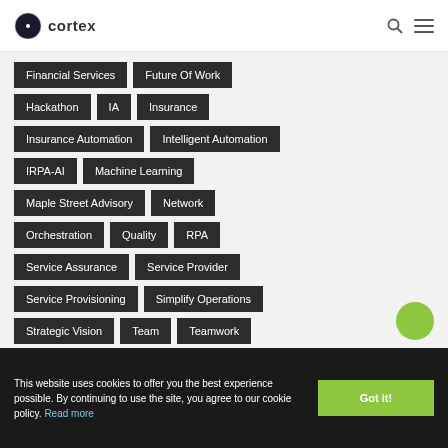Cortex
Financial Services
Future Of Work
Hackathon
IA
Insurance
Insurance Automation
Intelligent Automation
IRPA-AI
Machine Learning
Maple Street Advisory
Network
Orchestration
Quality
RPA
Service Assurance
Service Provider
Service Provisioning
Simplify Operations
Strategic Vision
Team
Teamwork
This website uses cookies to offer you the best experience possible. By continuing to use the site, you agree to our cookie policy. Read more